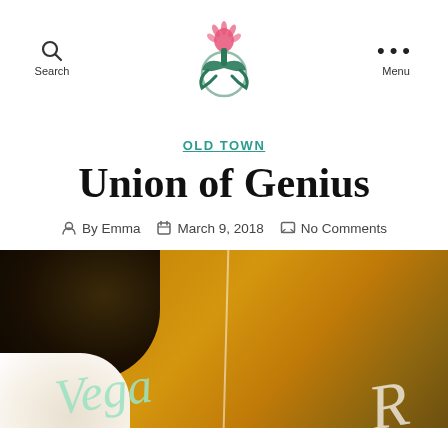Search | [Logo] | Menu
OLD TOWN
Union of Genius
By Emma  March 9, 2018  No Comments
[Figure (photo): Close-up photo of a glass window/sign with cursive text reading 'Vega' and 'R' visible, with warm amber/golden background and a dark bowl and white bowl visible]